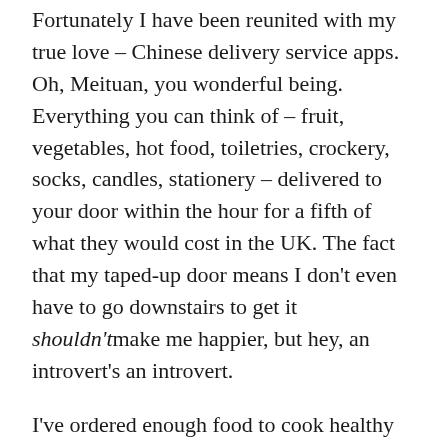Fortunately I have been reunited with my true love – Chinese delivery service apps. Oh, Meituan, you wonderful being. Everything you can think of – fruit, vegetables, hot food, toiletries, crockery, socks, candles, stationery – delivered to your door within the hour for a fifth of what they would cost in the UK. The fact that my taped-up door means I don't even have to go downstairs to get it shouldn't make me happier, but hey, an introvert's an introvert.
I've ordered enough food to cook healthy vegan meals for the next two weeks and hopefully persuade the belly roll that's been my sofa companion for the past 6 weeks to shuffle on so I